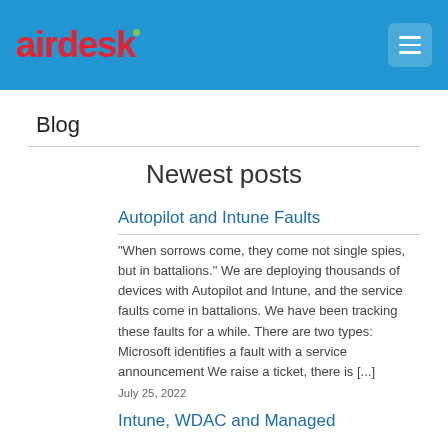airdesk
Blog
Newest posts
Autopilot and Intune Faults
“When sorrows come, they come not single spies, but in battalions.” We are deploying thousands of devices with Autopilot and Intune, and the service faults come in battalions. We have been tracking these faults for a while. There are two types: Microsoft identifies a fault with a service announcement We raise a ticket, there is [...]
July 25, 2022
Intune, WDAC and Managed